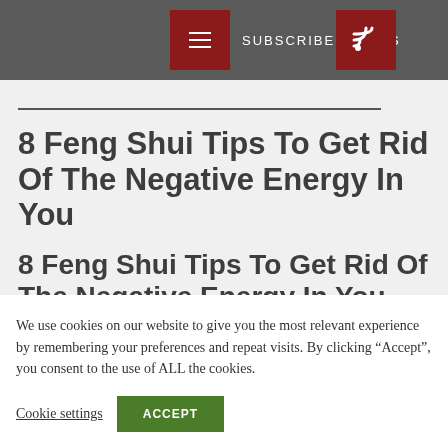SUBSCRIBE TO RSS
8 Feng Shui Tips To Get Rid Of The Negative Energy In You
8 Feng Shui Tips To Get Rid Of The Negative Energy In You
We use cookies on our website to give you the most relevant experience by remembering your preferences and repeat visits. By clicking ''Accept'', you consent to the use of ALL the cookies.
Cookie settings   ACCEPT